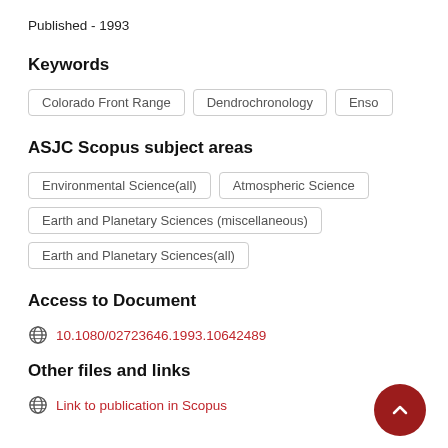Published - 1993
Keywords
Colorado Front Range
Dendrochronology
Enso
ASJC Scopus subject areas
Environmental Science(all)
Atmospheric Science
Earth and Planetary Sciences (miscellaneous)
Earth and Planetary Sciences(all)
Access to Document
10.1080/02723646.1993.10642489
Other files and links
Link to publication in Scopus